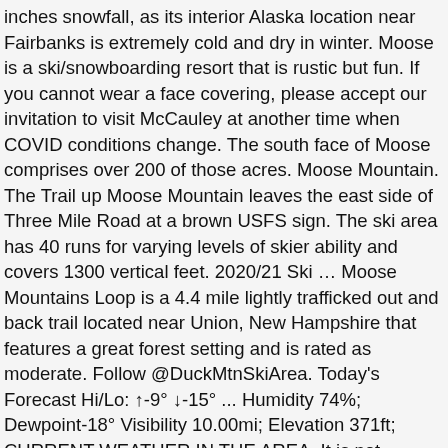inches snowfall, as its interior Alaska location near Fairbanks is extremely cold and dry in winter. Moose is a ski/snowboarding resort that is rustic but fun. If you cannot wear a face covering, please accept our invitation to visit McCauley at another time when COVID conditions change. The south face of Moose comprises over 200 of those acres. Moose Mountain. The Trail up Moose Mountain leaves the east side of Three Mile Road at a brown USFS sign. The ski area has 40 runs for varying levels of skier ability and covers 1300 vertical feet. 2020/21 Ski … Moose Mountains Loop is a 4.4 mile lightly trafficked out and back trail located near Union, New Hampshire that features a great forest setting and is rated as moderate. Follow @DuckMtnSkiArea. Today's Forecast Hi/Lo: ↑-9° ↓-15° ... Humidity 74%; Dewpoint-18° Visibility 10.00mi; Elevation 371ft; CURRENT WEATHER IN THE AREA. It is not packed and has drifted over in a few places and is not easily ridable on a fat bike in its condition, so we abandoned our attempt before the trail was too far from the road. Eaglecrest Ski Area. We welcome you and your